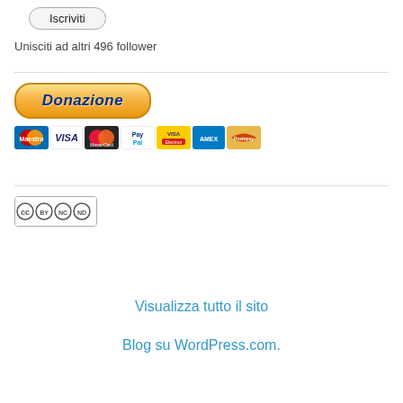[Figure (other): Iscriviti button - rounded rectangle button with border]
Unisciti ad altri 496 follower
[Figure (other): PayPal Donazione button with payment card icons (Maestro, VISA, Mastercard, PayPal, etc.)]
[Figure (other): Creative Commons BY NC ND license badge]
Visualizza tutto il sito
Blog su WordPress.com.